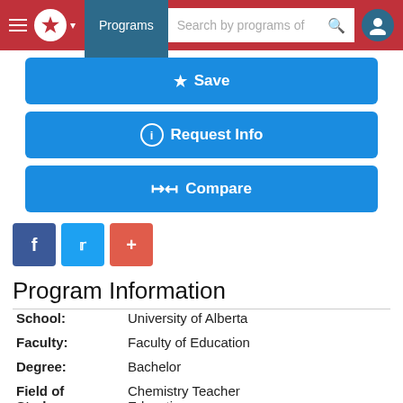[Figure (screenshot): Website navigation bar with hamburger menu, Canadian maple leaf logo, Programs button, search bar, and user icon on red background]
[Figure (screenshot): Blue Save button with star icon]
[Figure (screenshot): Blue Request Info button with info icon]
[Figure (screenshot): Blue Compare button with compare icon]
[Figure (screenshot): Social sharing buttons: Facebook (dark blue), Twitter (light blue), and a red plus/share button]
Program Information
| School: | University of Alberta |
| Faculty: | Faculty of Education |
| Degree: | Bachelor |
| Field of Study: | Chemistry Teacher Education |